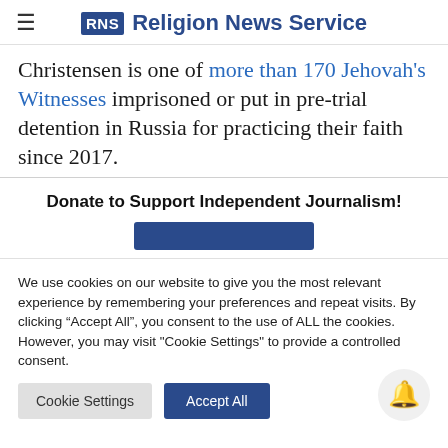RNS Religion News Service
Christensen is one of more than 170 Jehovah's Witnesses imprisoned or put in pre-trial detention in Russia for practicing their faith since 2017.
Donate to Support Independent Journalism!
We use cookies on our website to give you the most relevant experience by remembering your preferences and repeat visits. By clicking “Accept All”, you consent to the use of ALL the cookies. However, you may visit "Cookie Settings" to provide a controlled consent.